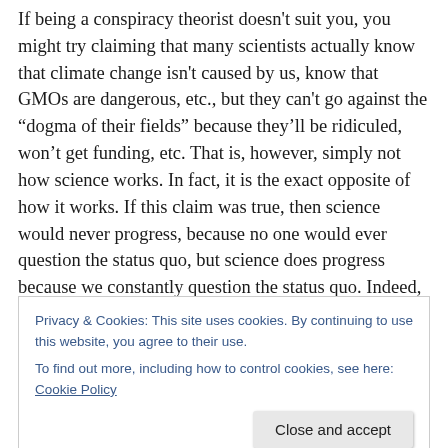If being a conspiracy theorist doesn't suit you, you might try claiming that many scientists actually know that climate change isn't caused by us, know that GMOs are dangerous, etc., but they can't go against the “dogma of their fields” because they’ll be ridiculed, won’t get funding, etc. That is, however, simply not how science works. In fact, it is the exact opposite of how it works. If this claim was true, then science would never progress, because no one would ever question the status quo, but science does progress because we constantly question the status quo. Indeed, challenging the accepted wisdom of our fields is
Privacy & Cookies: This site uses cookies. By continuing to use this website, you agree to their use.
To find out more, including how to control cookies, see here: Cookie Policy
Close and accept
progress...